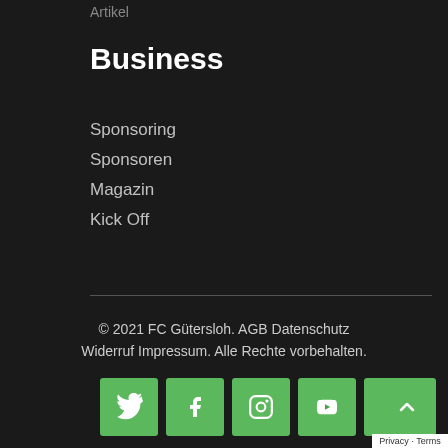Artikel
Business
Sponsoring
Sponsoren
Magazin
Kick Off
© 2021 FC Gütersloh. AGB Datenschutz Widerruf Impressum. Alle Rechte vorbehalten.
[Figure (other): Social media icon buttons: Twitter, Facebook, Instagram, YouTube, Twitch (green square buttons with white icons), plus a scroll-to-top button and a Privacy/Terms badge]